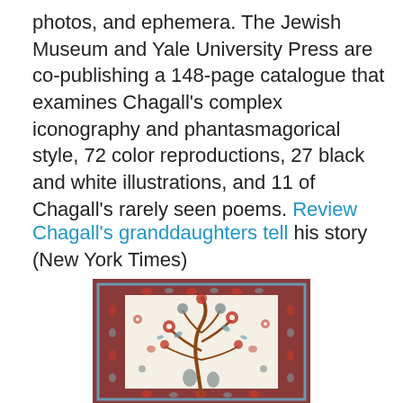photos, and ephemera. The Jewish Museum and Yale University Press are co-publishing a 148-page catalogue that examines Chagall's complex iconography and phantasmagorical style, 72 color reproductions, 27 black and white illustrations, and 11 of Chagall's rarely seen poems. Review
Chagall's granddaughters tell his story (New York Times)
[Figure (photo): A decorative textile or carpet with red and blue floral patterns, featuring a central cream/white field with a tree of life motif surrounded by ornate floral border in deep red tones.]